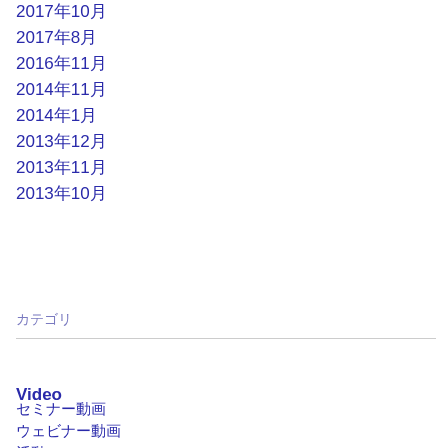2017年10月
2017年8月
2016年11月
2014年11月
2014年1月
2013年12月
2013年11月
2013年10月
カテゴリ
Video
セミナー動画
ウェビナー動画
活動